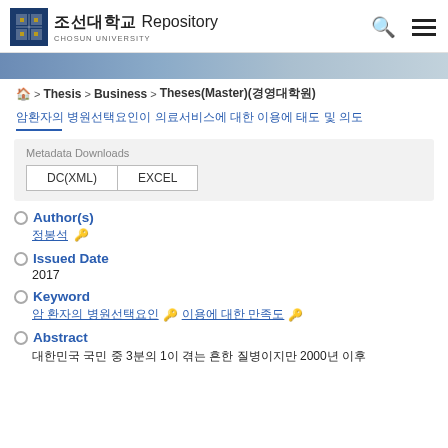조선대학교 Repository
[Figure (screenshot): Banner image of university building, grey-blue tones]
🏠 > Thesis > Business > Theses(Master)(경영대학원)
암환자의 병원선택요인이 의료서비스에 대한 이용에 태도 및 의도
Metadata Downloads
DC(XML)  EXCEL
Author(s)
정봉석
Issued Date
2017
Keyword
암 환자의 병원선택요인  이용에 대한 만족도
Abstract
대한민국 국민 중 3분의 1이 겪는 흔한 질병이지만 2000년 이후